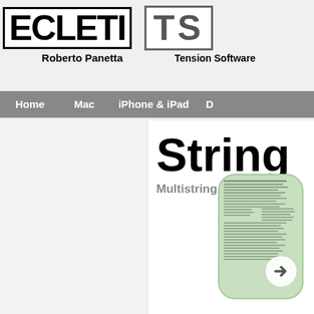[Figure (logo): Ecletici logo with thick black border, text ECLETI in bold]
[Figure (logo): Tension Software TS logo in grey square border]
Roberto Panetta
Tension Software
Home   Mac   iPhone & iPad   D
String
Multistring multifi
[Figure (screenshot): App icon showing green document with white arrow overlay]